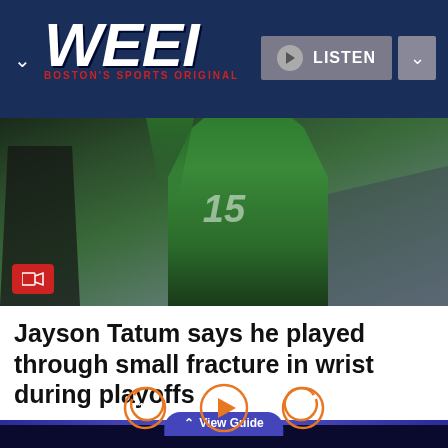WEEI - BOSTON'S SPORTS ORIGINAL
[Figure (photo): Basketball fan in green Celtics jersey with arms raised, crowd in background]
Jayson Tatum says he played through small fracture in wrist during playoffs